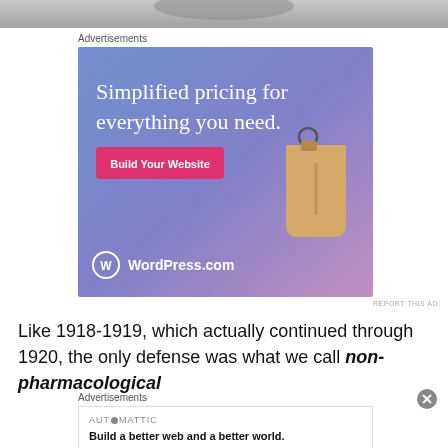[Figure (photo): Partial top strip of a grayscale photo, cropped at top of page]
Advertisements
[Figure (illustration): WordPress.com advertisement banner with blue-to-pink gradient background, white serif text reading 'Simplified pricing for everything you need.', a pink 'Build Your Website' button, a tan price tag illustration, and WordPress.com logo at bottom left]
REPORT THIS AD
Like 1918-1919, which actually continued through 1920, the only defense was what we call non-pharmacological
Advertisements
[Figure (illustration): Automattic advertisement box with AUTOMATTIC logo text and tagline 'Build a better web and a better world.']
REPORT THIS AD